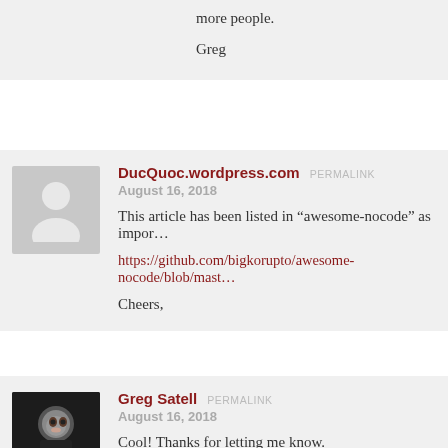more people.

Greg
DucQuoc.wordpress.com  PERMALINK
August 16, 2018

This article has been listed in “awesome-nocode” as impor…

https://github.com/bigkorupto/awesome-nocode/blob/mast…

Cheers,
Greg Satell  PERMALINK
August 16, 2018

Cool! Thanks for letting me know.

– Greg